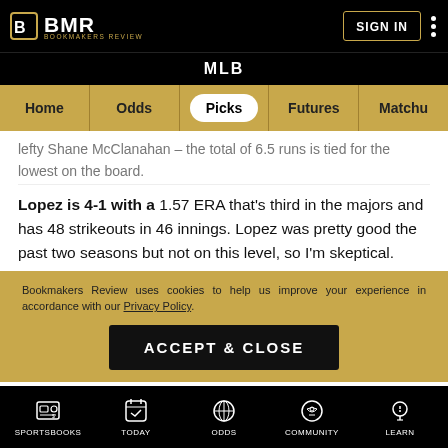BMR BOOKMAKERS REVIEW - SIGN IN
MLB
Home | Odds | Picks | Futures | Matchu
lefty Shane McClanahan – the total of 6.5 runs is tied for the lowest on the board.
Lopez is 4-1 with a 1.57 ERA that's third in the majors and has 48 strikeouts in 46 innings. Lopez was pretty good the past two seasons but not on this level, so I'm skeptical.
Bookmakers Review uses cookies to help us improve your experience in accordance with our Privacy Policy.
ACCEPT & CLOSE
SPORTSBOOKS | TODAY | ODDS | COMMUNITY | LEARN